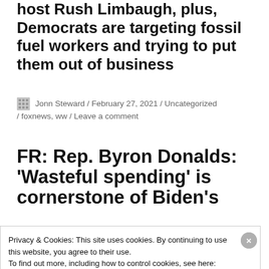host Rush Limbaugh, plus, Democrats are targeting fossil fuel workers and trying to put them out of business
Jonn Steward / February 27, 2021 / Uncategorized / foxnews, ww / Leave a comment
FR: Rep. Byron Donalds: 'Wasteful spending' is cornerstone of Biden's
Privacy & Cookies: This site uses cookies. By continuing to use this website, you agree to their use.
To find out more, including how to control cookies, see here:
Cookie Policy
Close and accept